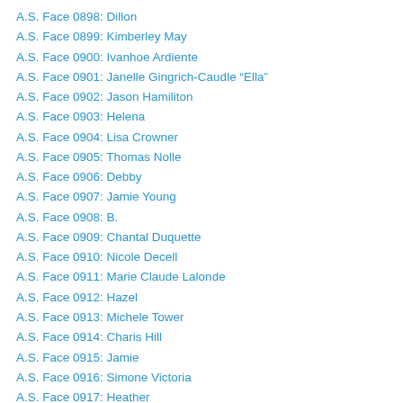A.S. Face 0898: Dillon
A.S. Face 0899: Kimberley May
A.S. Face 0900: Ivanhoe Ardiente
A.S. Face 0901: Janelle Gingrich-Caudle “Ella”
A.S. Face 0902: Jason Hamiliton
A.S. Face 0903: Helena
A.S. Face 0904: Lisa Crowner
A.S. Face 0905: Thomas Nolle
A.S. Face 0906: Debby
A.S. Face 0907: Jamie Young
A.S. Face 0908: B.
A.S. Face 0909: Chantal Duquette
A.S. Face 0910: Nicole Decell
A.S. Face 0911: Marie Claude Lalonde
A.S. Face 0912: Hazel
A.S. Face 0913: Michele Tower
A.S. Face 0914: Charis Hill
A.S. Face 0915: Jamie
A.S. Face 0916: Simone Victoria
A.S. Face 0917: Heather